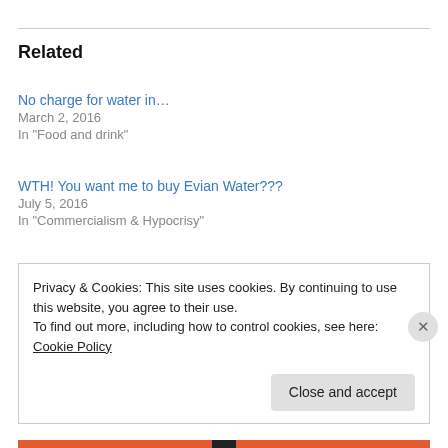Related
No charge for water in…
March 2, 2016
In "Food and drink"
WTH! You want me to buy Evian Water???
July 5, 2016
In "Commercialism & Hypocrisy"
Impossible Plant-based Meatloaf and Meatballs
July 22, 2022
In "Art"
Privacy & Cookies: This site uses cookies. By continuing to use this website, you agree to their use.
To find out more, including how to control cookies, see here: Cookie Policy
Close and accept